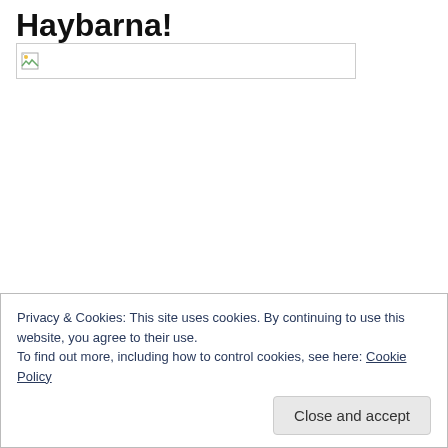Haybarna!
[Figure (other): Broken image placeholder — a small broken image icon inside a rectangular bordered box]
Privacy & Cookies: This site uses cookies. By continuing to use this website, you agree to their use.
To find out more, including how to control cookies, see here: Cookie Policy
Close and accept